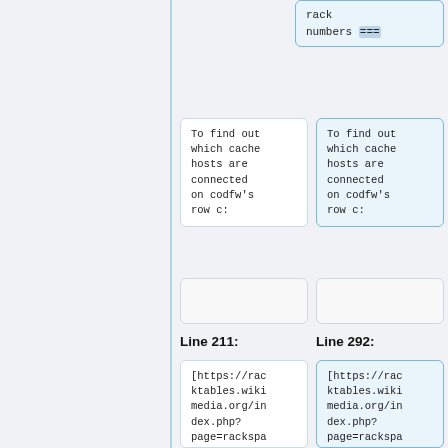rack
numbers ===
To find out which cache hosts are connected on codfw's row c:
To find out which cache hosts are connected on codfw's row c:
Line 211:
Line 292:
[https://racktables.wikimedia.org/index.php?page=rackspace Racktables] also allows to check
[https://racktables.wikimedia.org/index.php?page=rackspace Racktables] also allows to check